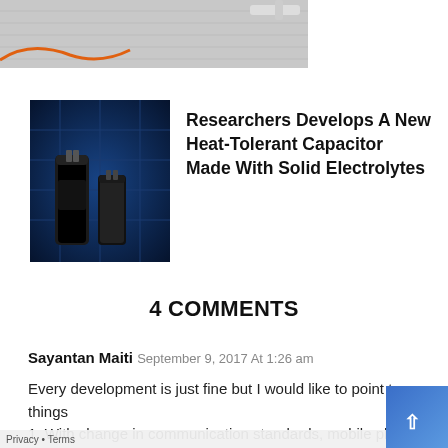[Figure (photo): Partial image strip at top of page showing a cropped photo, possibly electronic components or graphs]
[Figure (photo): Thumbnail photo of electronic capacitors on a blue circuit board]
Researchers Develops A New Heat-Tolerant Capacitor Made With Solid Electrolytes
4 COMMENTS
Sayantan Maiti September 9, 2017 At 1:26 am
Every development is just fine but I would like to point two things
1. With change in communication standards, mobile phone techs are changing very frequently and this leads to the thing that Indians have to buy phones after every 2-3 years. In a country like India…development is must..but we must think about using the same handset..that is not to buy phones frequently wit... the f...